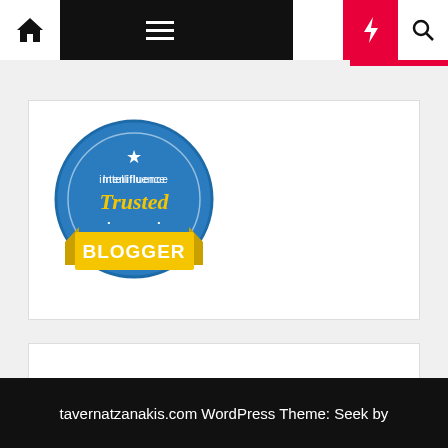Navigation bar with home, menu, moon, bolt, and search icons
[Figure (logo): Intellifluence Trusted Blogger badge logo — circular blue badge with gold ribbon banner reading BLOGGER]
backlinks
tavernatzanakis.com WordPress Theme: Seek by